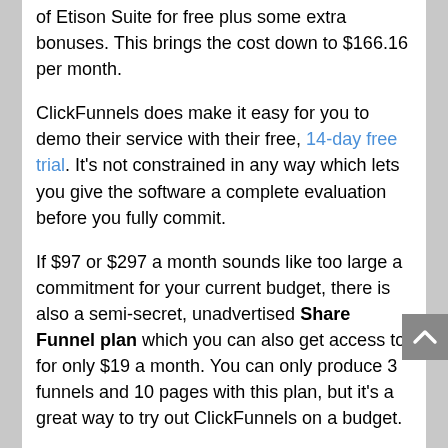of Etison Suite for free plus some extra bonuses. This brings the cost down to $166.16 per month.
ClickFunnels does make it easy for you to demo their service with their free, 14-day free trial. It's not constrained in any way which lets you give the software a complete evaluation before you fully commit.
If $97 or $297 a month sounds like too large a commitment for your current budget, there is also a semi-secret, unadvertised Share Funnel plan which you can also get access to for only $19 a month. You can only produce 3 funnels and 10 pages with this plan, but it's a great way to try out ClickFunnels on a budget.